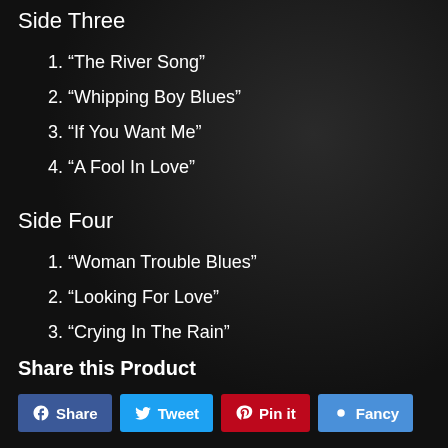Side Three
1. “The River Song”
2. “Whipping Boy Blues”
3. “If You Want Me”
4. “A Fool In Love”
Side Four
1. “Woman Trouble Blues”
2. “Looking For Love”
3. “Crying In The Rain”
Share this Product
Share | Tweet | Pin it | Fancy